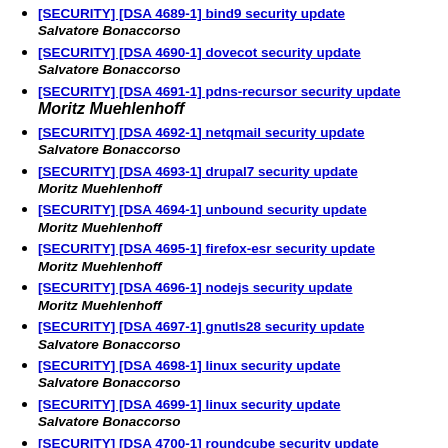[SECURITY] [DSA 4689-1] bind9 security update
Salvatore Bonaccorso
[SECURITY] [DSA 4690-1] dovecot security update
Salvatore Bonaccorso
[SECURITY] [DSA 4691-1] pdns-recursor security update Moritz Muehlenhoff
[SECURITY] [DSA 4692-1] netqmail security update
Salvatore Bonaccorso
[SECURITY] [DSA 4693-1] drupal7 security update
Moritz Muehlenhoff
[SECURITY] [DSA 4694-1] unbound security update
Moritz Muehlenhoff
[SECURITY] [DSA 4695-1] firefox-esr security update
Moritz Muehlenhoff
[SECURITY] [DSA 4696-1] nodejs security update
Moritz Muehlenhoff
[SECURITY] [DSA 4697-1] gnutls28 security update
Salvatore Bonaccorso
[SECURITY] [DSA 4698-1] linux security update
Salvatore Bonaccorso
[SECURITY] [DSA 4699-1] linux security update
Salvatore Bonaccorso
[SECURITY] [DSA 4700-1] roundcube security update
Sebastien Delafond